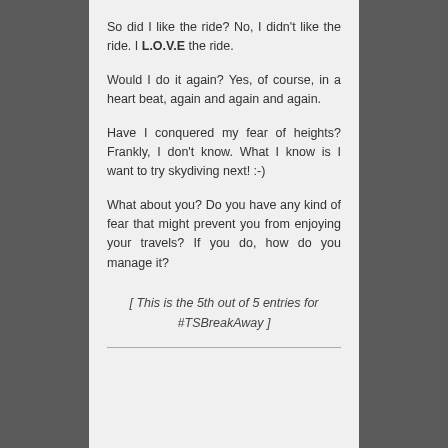So did I like the ride? No, I didn't like the ride. I L.O.V.E the ride.
Would I do it again? Yes, of course, in a heart beat, again and again and again.
Have I conquered my fear of heights? Frankly, I don't know. What I know is I want to try skydiving next! :-)
What about you? Do you have any kind of fear that might prevent you from enjoying your travels? If you do, how do you manage it?
[ This is the 5th out of 5 entries for #TSBreakAway ]